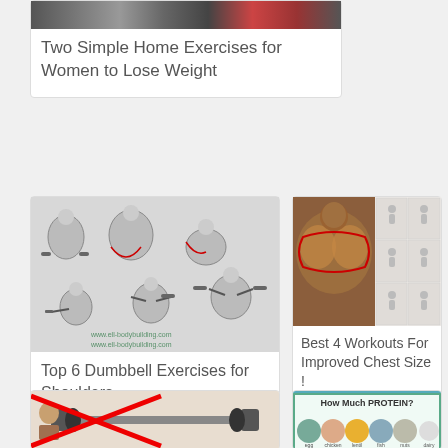[Figure (photo): Partial view of a gym/exercise image at top of card]
Two Simple Home Exercises for Women to Lose Weight
[Figure (infographic): Dumbbell shoulder exercise diagram showing 6 exercises with muscle illustrations]
Top 6 Dumbbell Exercises for Shoulders
[Figure (photo): Muscular man with chest highlighted and grid of chest workout illustrations]
Best 4 Workouts For Improved Chest Size !
[Figure (photo): Partial image showing barbell with red X marks and a person]
[Figure (infographic): How Much PROTEIN? infographic with colored food circles]